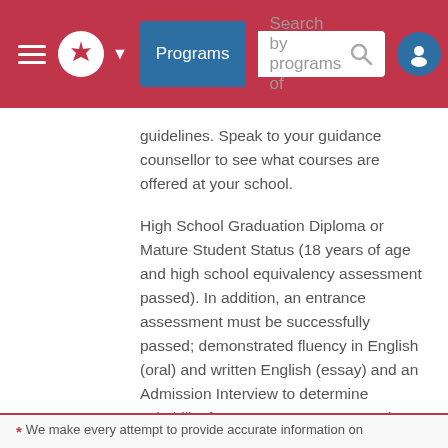Programs  Search by programs of
guidelines. Speak to your guidance counsellor to see what courses are offered at your school.
High School Graduation Diploma or Mature Student Status (18 years of age and high school equivalency assessment passed). In addition, an entrance assessment must be successfully passed; demonstrated fluency in English (oral) and written English (essay) and an Admission Interview to determine suitability for a career as a Community Services Worker.
* We make every attempt to provide accurate information on